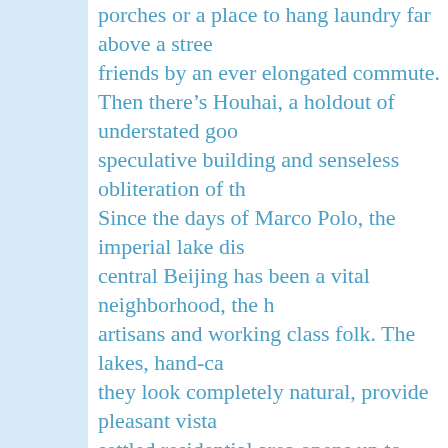porches or a place to hang laundry far above a street, separated from friends by an ever elongated commute. Then there's Houhai, a holdout of understated good taste amid the speculative building and senseless obliteration of the rest of the city. Since the days of Marco Polo, the imperial lake district in the heart of central Beijing has been a vital neighborhood, the home of merchants, artisans and working class folk. The lakes, hand-carved long ago though they look completely natural, provide pleasant vistas. The once-quiet, settled residential area opens up to three inter-connected lakes, ringed with overhanging willows, stone bridges and low-rise tile-roof buildings. A bar nestled between Front Lake and Back Lake, aligned to the north, for centuries provided a tree-framed vista of the Fragrant Hills. That vista is visible today, though distant high-rises and a bank of haze soften the view. What's most remarkable about Houhai at this juncture is that it's both cutting-edge cool because of it's stubborn continuity, and that it serves residents and visitors equally well. Marble arches, not shopping malls; alleys, not highways. As old Beijing is gobbled up by behemoth projects...